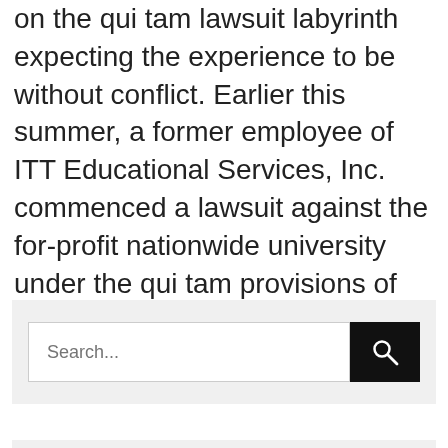on the qui tam lawsuit labyrinth expecting the experience to be without conflict. Earlier this summer, a former employee of ITT Educational Services, Inc. commenced a lawsuit against the for-profit nationwide university under the qui tam provisions of the False Claims Act in response to her decade-long exposure [...]
Search...